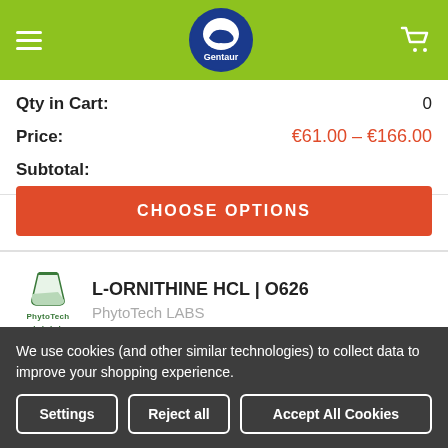[Figure (logo): Gentaur website header with green background, hamburger menu, Gentaur circular logo, and shopping cart icon]
Qty in Cart: 0
Price: €61.00 - €166.00
Subtotal:
CHOOSE OPTIONS
L-ORNITHINE HCL | O626
PhytoTech LABS
We use cookies (and other similar technologies) to collect data to improve your shopping experience.
Settings
Reject all
Accept All Cookies